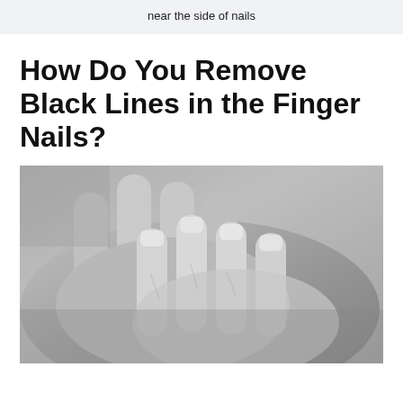near the side of nails
How Do You Remove Black Lines in the Finger Nails?
[Figure (photo): Black and white close-up photograph of two hands with fingers interlocked or overlapping, showing fingernails up close]